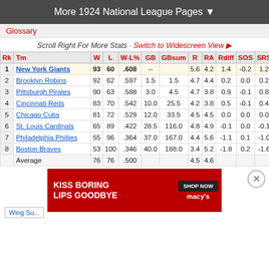More 1924 National League Pages ▼
Glossary
Scroll Right For More Stats · Switch to Widescreen View ▶
| Rk | Tm | W | L | W-L% | GB | GBsum | R | RA | Rdiff | SOS | SRS | py |
| --- | --- | --- | --- | --- | --- | --- | --- | --- | --- | --- | --- | --- |
| 1 | New York Giants | 93 | 60 | .608 | -- |  | 5.6 | 4.2 | 1.4 | -0.2 | 1.2 |  |
| 2 | Brooklyn Robins | 92 | 62 | .597 | 1.5 | 1.5 | 4.7 | 4.4 | 0.2 | 0.0 | 0.2 |  |
| 3 | Pittsburgh Pirates | 90 | 63 | .588 | 3.0 | 4.5 | 4.7 | 3.8 | 0.9 | -0.1 | 0.8 |  |
| 4 | Cincinnati Reds | 83 | 70 | .542 | 10.0 | 25.5 | 4.2 | 3.8 | 0.5 | -0.1 | 0.4 |  |
| 5 | Chicago Cubs | 81 | 72 | .529 | 12.0 | 33.5 | 4.5 | 4.5 | 0.0 | 0.0 | 0.0 |  |
| 6 | St. Louis Cardinals | 65 | 89 | .422 | 28.5 | 116.0 | 4.8 | 4.9 | -0.1 | 0.0 | -0.1 |  |
| 7 | Philadelphia Phillies | 55 | 96 | .364 | 37.0 | 167.0 | 4.4 | 5.6 | -1.1 | 0.1 | -1.0 |  |
| 8 | Boston Braves | 53 | 100 | .346 | 40.0 | 188.0 | 3.4 | 5.2 | -1.8 | 0.2 | -1.6 | 4 |
|  | Average | 76 | 76 | .500 |  |  | 4.5 | 4.6 |  |  |  |  |
[Figure (photo): Macy's advertisement banner: KISS BORING LIPS GOODBYE - SHOP NOW - macy's logo]
Posts
Wing Su...